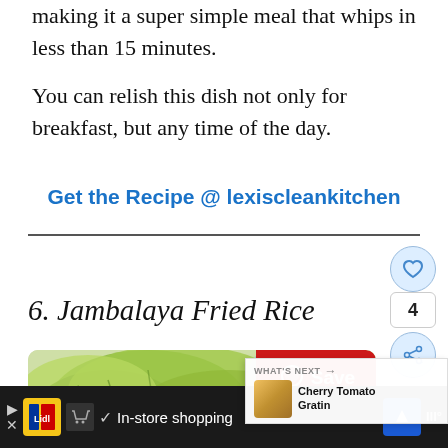making it a super simple meal that whips in less than 15 minutes.
You can relish this dish not only for breakfast, but any time of the day.
Get the Recipe @ lexiscleankitchen
6. Jambalaya Fried Rice
[Figure (photo): Food photo showing Jambalaya Fried Rice in a cast iron pan with green lettuce leaves and a red Save button overlay. A 'What's Next' panel shows Cherry Tomato Gratin thumbnail.]
In-store shopping